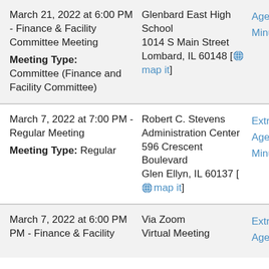March 21, 2022 at 6:00 PM - Finance & Facility Committee Meeting
Meeting Type: Committee (Finance and Facility Committee)
Glenbard East High School 1014 S Main Street Lombard, IL 60148 [map it]
Agenda
Minutes
March 7, 2022 at 7:00 PM - Regular Meeting
Meeting Type: Regular
Robert C. Stevens Administration Center 596 Crescent Boulevard Glen Ellyn, IL 60137 [map it]
Extras
Agenda
Minutes
March 7, 2022 at 6:00 PM - Finance & Facility
Via Zoom Virtual Meeting
Extras
Agenda